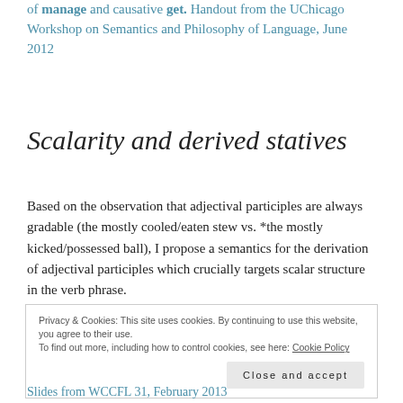of manage and causative get. Handout from the UChicago Workshop on Semantics and Philosophy of Language, June 2012
Scalarity and derived statives
Based on the observation that adjectival participles are always gradable (the mostly cooled/eaten stew vs. *the mostly kicked/possessed ball), I propose a semantics for the derivation of adjectival participles which crucially targets scalar structure in the verb phrase.
Privacy & Cookies: This site uses cookies. By continuing to use this website, you agree to their use.
To find out more, including how to control cookies, see here: Cookie Policy
Close and accept
Slides from WCCFL 31, February 2013